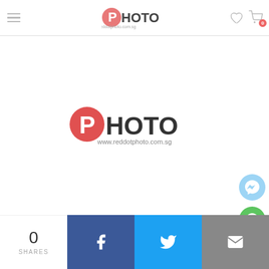[Figure (logo): RedDot Photo header logo with hamburger menu, heart icon, and shopping cart with 0 badge]
[Figure (logo): RedDot PHOTO logo - large centered on page with www.reddotphoto.com.sg URL]
[Figure (infographic): Facebook Messenger floating chat button (light blue circle)]
[Figure (infographic): WhatsApp floating contact button (green circle)]
0 SHARES
[Figure (infographic): Social share bar: Facebook (blue), Twitter (light blue), Email (grey) buttons]